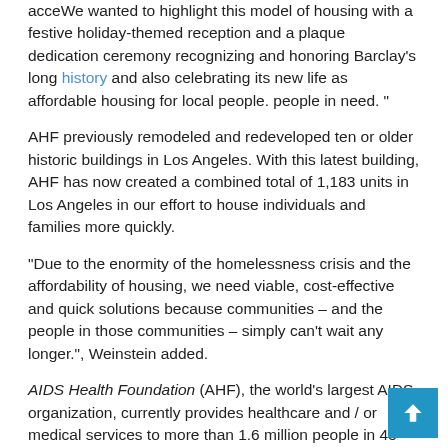acceWe wanted to highlight this model of housing with a festive holiday-themed reception and a plaque dedication ceremony recognizing and honoring Barclay's long history and also celebrating its new life as affordable housing for local people. people in need. "
AHF previously remodeled and redeveloped ten or older historic buildings in Los Angeles. With this latest building, AHF has now created a combined total of 1,183 units in Los Angeles in our effort to house individuals and families more quickly.
“Due to the enormity of the homelessness crisis and the affordability of housing, we need viable, cost-effective and quick solutions because communities – and the people in those communities – simply can't wait any longer.", Weinstein added.
AIDS Health Foundation (AHF), the world’s largest AIDS organization, currently provides healthcare and / or medical services to more than 1.6 million people in 45 countries around the world in the United States, Africa, Latin America /